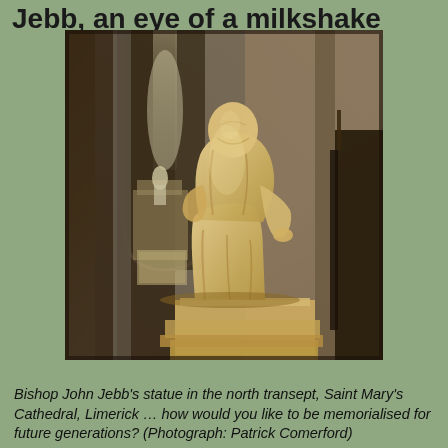Jebb, an eye of a milkshake
[Figure (photo): A marble/stone statue of Bishop John Jebb seated in robes, photographed inside Saint Mary's Cathedral, Limerick. The statue is set against a stone gothic cathedral interior with arched columns and stone walls. The statue appears golden-hued due to lighting. The bishop is depicted in academic or ecclesiastical robes, seated on a plinth.]
Bishop John Jebb's statue in the north transept, Saint Mary's Cathedral, Limerick … how would you like to be memorialised for future generations? (Photograph: Patrick Comerford)